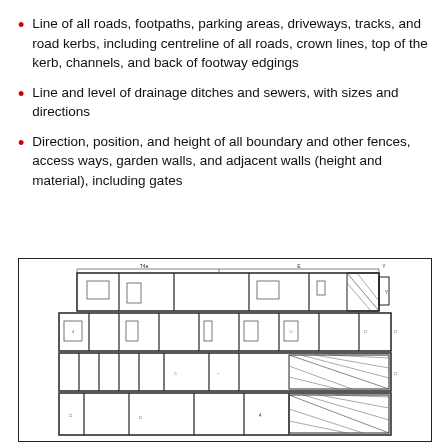Line of all roads, footpaths, parking areas, driveways, tracks, and road kerbs, including centreline of all roads, crown lines, top of the kerb, channels, and back of footway edgings
Line and level of drainage ditches and sewers, with sizes and directions
Direction, position, and height of all boundary and other fences, access ways, garden walls, and adjacent walls (height and material), including gates
[Figure (engineering-diagram): Architectural floor plan / section drawing showing multiple floors of a building with rooms, walls, windows, doors, and a staircase with cross-hatching pattern visible in lower right area.]